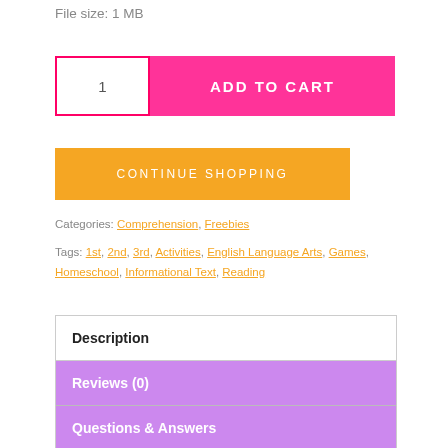File size: 1 MB
1  ADD TO CART
CONTINUE SHOPPING
Categories: Comprehension, Freebies
Tags: 1st, 2nd, 3rd, Activities, English Language Arts, Games, Homeschool, Informational Text, Reading
Description
Reviews (0)
Questions & Answers